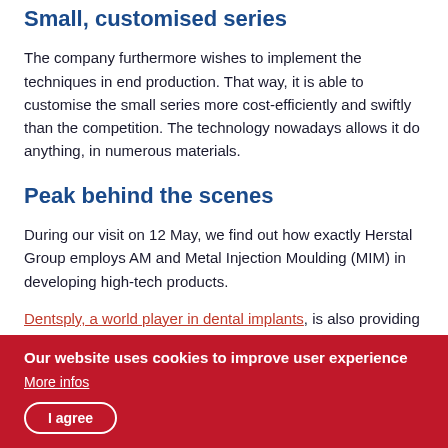Small, customised series
The company furthermore wishes to implement the techniques in end production. That way, it is able to customise the small series more cost-efficiently and swiftly than the competition. The technology nowadays allows it do anything, in numerous materials.
Peak behind the scenes
During our visit on 12 May, we find out how exactly Herstal Group employs AM and Metal Injection Moulding (MIM) in developing high-tech products.
Dentsply, a world player in dental implants, is also providing
Our website uses cookies to improve user experience
More infos
I agree